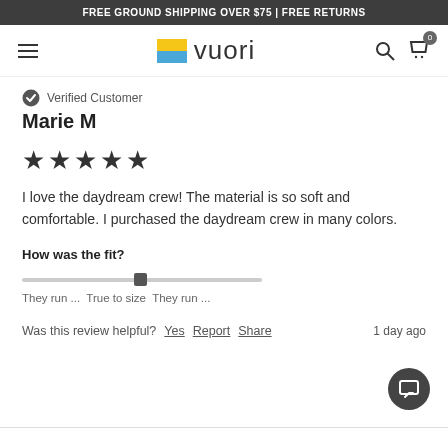FREE GROUND SHIPPING OVER $75 | FREE RETURNS
[Figure (logo): Vuori logo with colored square icon and text]
Verified Customer
Marie M
★★★★★
I love the daydream crew!  The material is so soft and comfortable.  I purchased the daydream crew in many colors.
How was the fit?
They run ... True to size  They run ...
Was this review helpful?  Yes  Report  Share  1 day ago